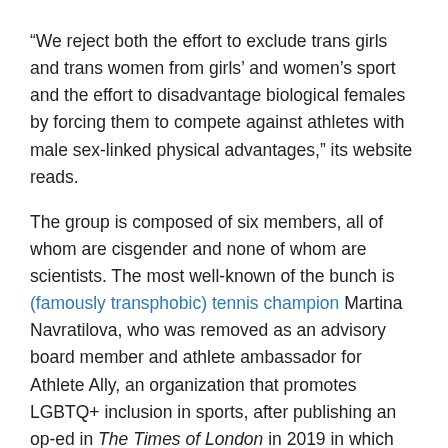“We reject both the effort to exclude trans girls and trans women from girls’ and women’s sport and the effort to disadvantage biological females by forcing them to compete against athletes with male sex-linked physical advantages,” its website reads.
The group is composed of six members, all of whom are cisgender and none of whom are scientists. The most well-known of the bunch is (famously transphobic) tennis champion Martina Navratilova, who was removed as an advisory board member and athlete ambassador for Athlete Ally, an organization that promotes LGBTQ+ inclusion in sports, after publishing an op-ed in The Times of London in 2019 in which she claimed that allowing trans women to compete in women’s sports was “cheating.”